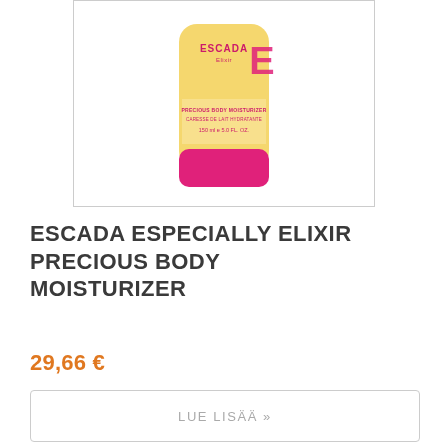[Figure (photo): Yellow squeeze tube of Escada Especially Elixir Precious Body Moisturizer, 150ml / 5.0 FL. OZ., with a pink cap, showing the Escada Elixir logo on the front. Product is on a white background inside a bordered frame.]
ESCADA ESPECIALLY ELIXIR PRECIOUS BODY MOISTURIZER
29,66 €
LUE LISÄÄ »